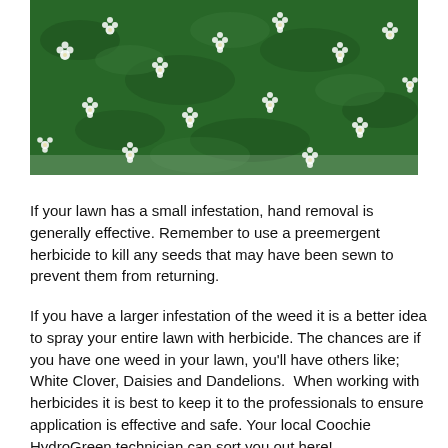[Figure (photo): Close-up photo of green lawn grass with small white flowers scattered throughout]
If your lawn has a small infestation, hand removal is generally effective. Remember to use a preemergent herbicide to kill any seeds that may have been sewn to prevent them from returning.
If you have a larger infestation of the weed it is a better idea to spray your entire lawn with herbicide. The chances are if you have one weed in your lawn, you’ll have others like; White Clover, Daisies and Dandelions.  When working with herbicides it is best to keep it to the professionals to ensure application is effective and safe. Your local Coochie HydroGreen technician can sort you out here!
As always prevention of a problem is easier than fixing one. Ensure you are mowing and watering correctly, and